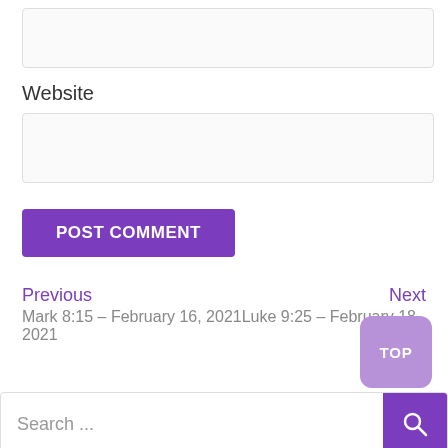[Figure (screenshot): Empty text input box at the top of the form]
Website
[Figure (screenshot): Empty website input field]
POST COMMENT
Previous
Next
Mark 8:15 – February 16, 2021Luke 9:25 – February 18, 2021
TOP
Search ...